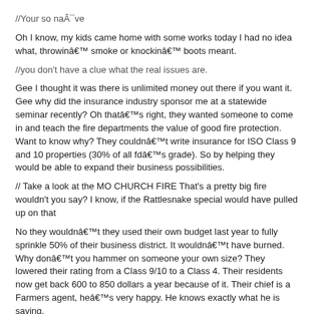//Your so naïve
Oh I know, my kids came home with some works today I had no idea what, throwinâ€™ smoke or knockinâ€™ boots meant.
//you don't have a clue what the real issues are.
Gee I thought it was there is unlimited money out there if you want it. Gee why did the insurance industry sponsor me at a statewide seminar recently? Oh thatâ€™s right, they wanted someone to come in and teach the fire departments the value of good fire protection. Want to know why? They couldnâ€™t write insurance for ISO Class 9 and 10 properties (30% of all fdâ€™s grade). So by helping they would be able to expand their business possibilities.
// Take a look at the MO CHURCH FIRE That's a pretty big fire wouldn't you say? I know, if the Rattlesnake special would have pulled up on that
No they wouldnâ€™t they used their own budget last year to fully sprinkle 50% of their business district. It wouldnâ€™t have burned. Why donâ€™t you hammer on someone your own size? They lowered their rating from a Class 9/10 to a Class 4. Their residents now get back 600 to 850 dollars a year because of it. Their chief is a Farmers agent, heâ€™s very happy. He knows exactly what he is saving.
// you make me laugh.
Thatâ€™s nice.